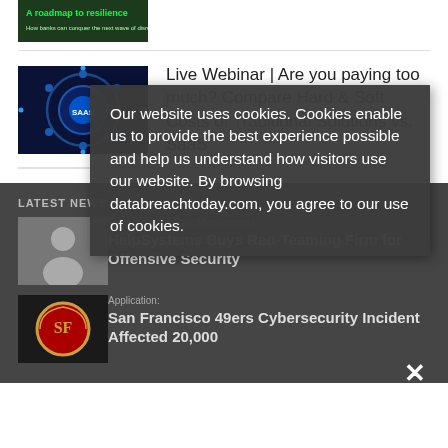[Figure (photo): Top article thumbnail - dark green/tech themed book roadmap image]
[Figure (photo): SaaS article thumbnail - blue circular tech/gears graphic with SAAS text]
Live Webinar | Are you paying too much? Compare Hard & Soft Costs of Traditional Solutions vs. SaaS
LATEST NEWS
[Figure (photo): Person headshot thumbnail for HelpSystems article]
Governance & Risk Management:
HelpSystems Buys Red-Teaming Firm for Offensive Security
[Figure (logo): San Francisco 49ers logo thumbnail]
Application:
San Francisco 49ers Cybersecurity Incident Affected 20,000
Our website uses cookies. Cookies enable us to provide the best experience possible and help us understand how visitors use our website. By browsing databreachtoday.com, you agree to our use of cookies.